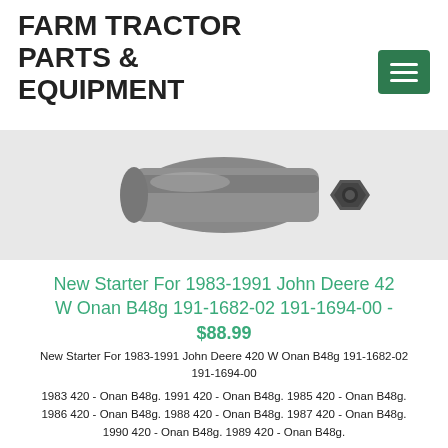FARM TRACTOR PARTS & EQUIPMENT
[Figure (photo): Close-up photo of a starter motor component, metallic grey with hex nut visible]
New Starter For 1983-1991 John Deere 420 W Onan B48g 191-1682-02 191-1694-00 - $88.99
New Starter For 1983-1991 John Deere 420 W Onan B48g 191-1682-02 191-1694-00
1983 420 - Onan B48g. 1991 420 - Onan B48g. 1985 420 - Onan B48g. 1986 420 - Onan B48g. 1988 420 - Onan B48g. 1987 420 - Onan B48g. 1990 420 - Onan B48g. 1989 420 - Onan B48g.